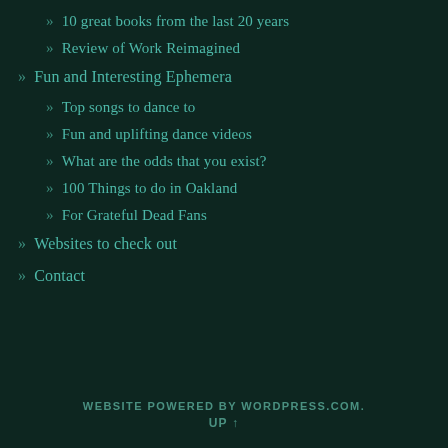» 10 great books from the last 20 years
» Review of Work Reimagined
» Fun and Interesting Ephemera
» Top songs to dance to
» Fun and uplifting dance videos
» What are the odds that you exist?
» 100 Things to do in Oakland
» For Grateful Dead Fans
» Websites to check out
» Contact
WEBSITE POWERED BY WORDPRESS.COM. UP ↑